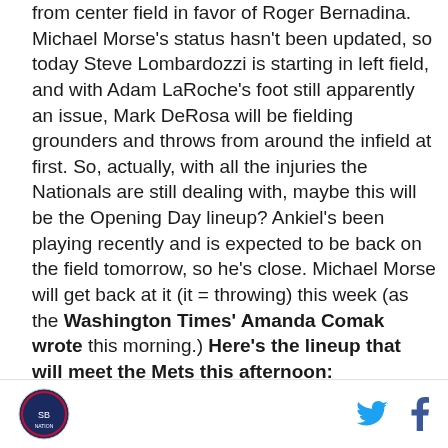from center field in favor of Roger Bernadina. Michael Morse's status hasn't been updated, so today Steve Lombardozzi is starting in left field, and with Adam LaRoche's foot still apparently an issue, Mark DeRosa will be fielding grounders and throws from around the infield at first. So, actually, with all the injuries the Nationals are still dealing with, maybe this will be the Opening Day lineup? Ankiel's been playing recently and is expected to be back on the field tomorrow, so he's close. Michael Morse will get back at it (it = throwing) this week (as the Washington Times' Amanda Comak wrote this morning.) Here's the lineup that will meet the Mets this afternoon:
1   Ian Desmond   SS
[logo] [twitter] [facebook]